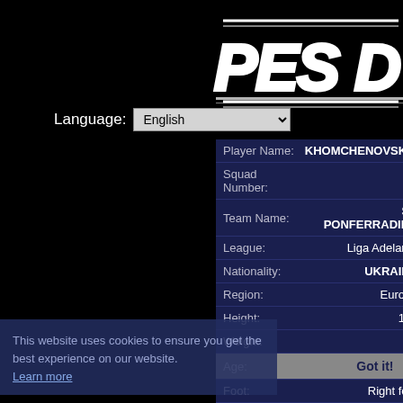[Figure (logo): PES Database logo in italicized white text with decorative lines on black background]
Language: English
| Field | Value |
| --- | --- |
| Player Name: | KHOMCHENOVSKIY |
| Squad Number: | 11 |
| Team Name: | SD PONFERRADINA |
| League: | Liga Adelante |
| Nationality: | UKRAINE |
| Region: | Europe |
| Height: | 182 |
| Weight: | 74 |
| Age: | 25 |
| Foot: | Right foot |
| Position: | LMF |
Attacking
Ball Cont
Dribbling
Low Pass
Lofted Pa
Finishing
Place Kic
Swerve:
Header:
Defensive
Ball Winn
This website uses cookies to ensure you get the best experience on our website. Learn more
Got it!